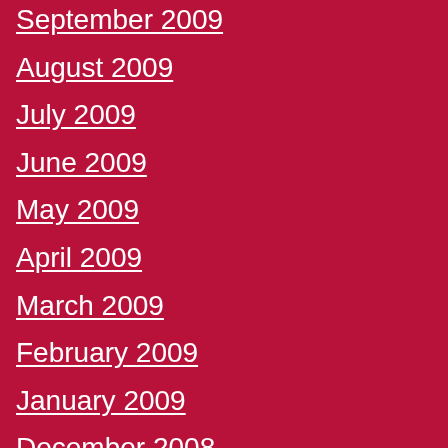September 2009
August 2009
July 2009
June 2009
May 2009
April 2009
March 2009
February 2009
January 2009
December 2008
November 2008
October 2008
September 2008